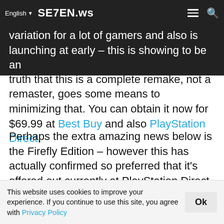SE7EN.ws — navigation bar with English language selector, logo, hamburger menu, and search icon
variation for a lot of gamers and also is launching at early – this is showing to be an inconvenience for some, however the truth that this is a complete remake, not a remaster, goes some means to minimizing that. You can obtain it now for $69.99 at Best Buy and also PlayStation Direct.
Perhaps the extra amazing news below is the Firefly Edition – however this has actually confirmed so preferred that it's offered out currently at PlayStation Direct and also does not seem standing out anywhere else. And while the PlayStation Direct listing does indicate it's a special just offered there, we stay in hope that the similarity Amazon and also Walmart may wind up seeing it – and also for it to appear in various other nations and also areas also.
Which...
This website uses cookies to improve your experience. If you continue to use this site, you agree with Privacy Policy